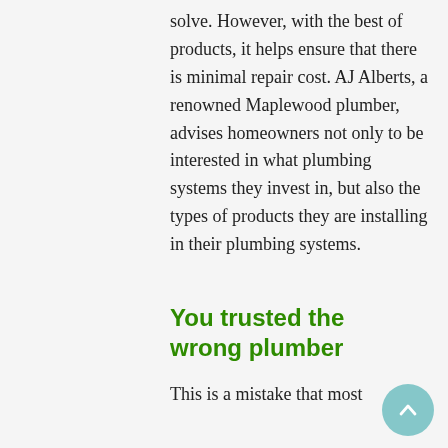solve. However, with the best of products, it helps ensure that there is minimal repair cost. AJ Alberts, a renowned Maplewood plumber, advises homeowners not only to be interested in what plumbing systems they invest in, but also the types of products they are installing in their plumbing systems.
You trusted the wrong plumber
This is a mistake that most